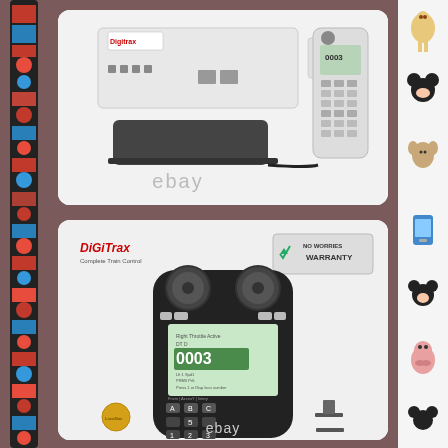[Figure (photo): Digitrax model train control system showing command station, power supply, and handheld throttle controller with eBay watermark]
[Figure (photo): Close-up of Digitrax handheld throttle controller showing dual knobs, display screen showing 0003, keypad buttons, No Worries Warranty badge, and Digitrax Complete Train Control logo]